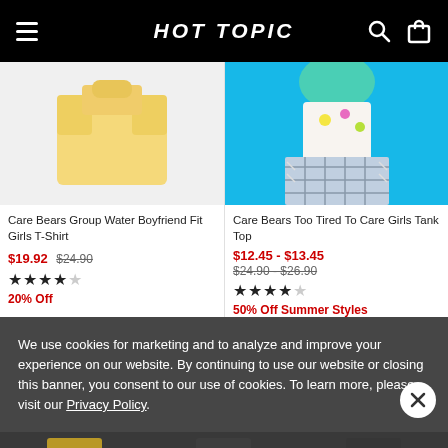HOT TOPIC
[Figure (photo): Care Bears Group Water Boyfriend Fit Girls T-Shirt product image - yellow shirt on light gray background]
Care Bears Group Water Boyfriend Fit Girls T-Shirt
$19.92 $24.90
★★★★☆
20% Off
[Figure (photo): Care Bears Too Tired To Care Girls Tank Top product image - model wearing plaid skirt on blue background]
Care Bears Too Tired To Care Girls Tank Top
$12.45 - $13.45
$24.90 - $26.90
★★★★☆
50% Off Summer Styles
We use cookies for marketing and to analyze and improve your experience on our website. By continuing to use our website or closing this banner, you consent to our use of cookies. To learn more, please visit our Privacy Policy.